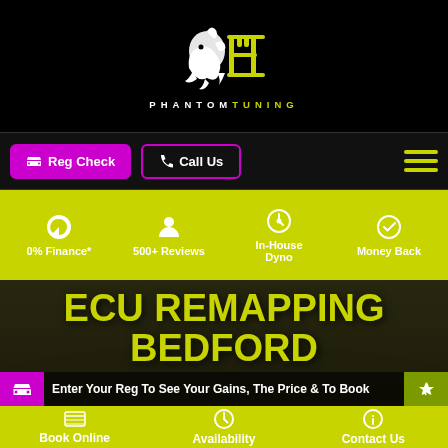[Figure (logo): Phantom Tuning logo — white dragon/horse figure with yellow-green speed lines forming a P and T shape, on black background. Below: PHANTOM TUNING text in white/yellow-green spaced lettering.]
Reg Check
Call Us
0% Finance*
500+ Reviews
In-House Dyno
Money Back
ECU REMAPPING BEDFORD
Enter Your Reg To See Your Gains, The Price & To Book
Book Online
Availability
Contact Us